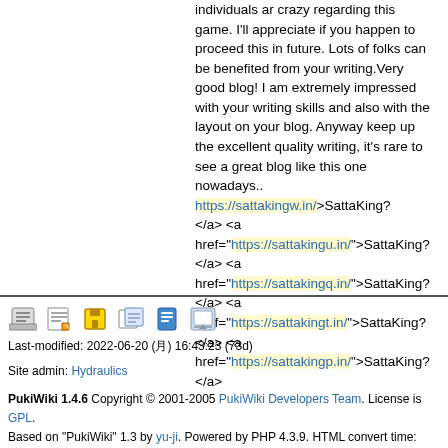individuals ar crazy regarding this game. I'll appreciate if you happen to proceed this in future. Lots of folks can be benefited from your writing.Very good blog! I am extremely impressed with your writing skills and also with the layout on your blog. Anyway keep up the excellent quality writing, it's rare to see a great blog like this one nowadays..  <a href="https://sattakingw.in/">SattaKing? </a> <a href="https://sattakingu.in/">SattaKing? </a> <a href="https://sattakingq.in/">SattaKing? </a> <a href="https://sattakingt.in/">SattaKing? </a> <a href="https://sattakingp.in/">SattaKing? </a>
Last-modified: 2022-06-20 (月) 16:43:23 (73d)
Site admin: Hydraulics
PukiWiki 1.4.6 Copyright © 2001-2005 PukiWiki Developers Team. License is GPL. Based on "PukiWiki" 1.3 by yu-ji. Powered by PHP 4.3.9. HTML convert time: 0.031 sec.